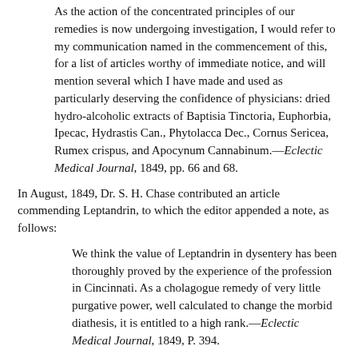As the action of the concentrated principles of our remedies is now undergoing investigation, I would refer to my communication named in the commencement of this, for a list of articles worthy of immediate notice, and will mention several which I have made and used as particularly deserving the confidence of physicians: dried hydro-alcoholic extracts of Baptisia Tinctoria, Euphorbia, Ipecac, Hydrastis Can., Phytolacca Dec., Cornus Sericea, Rumex crispus, and Apocynum Cannabinum.—Eclectic Medical Journal, 1849, pp. 66 and 68.
In August, 1849, Dr. S. H. Chase contributed an article commending Leptandrin, to which the editor appended a note, as follows:
We think the value of Leptandrin in dysentery has been thoroughly proved by the experience of the profession in Cincinnati. As a cholagogue remedy of very little purgative power, well calculated to change the morbid diathesis, it is entitled to a high rank.—Eclectic Medical Journal, 1849, P. 394.
In October, 1851, the New England Medical and Surgical Journal, in an editorial by Calvin Newton, M. D., answered the "question